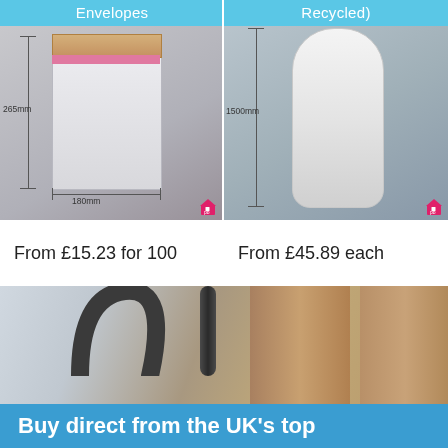Envelopes
[Figure (photo): Padded bubble envelope, white, with dimensions shown: 265mm height, 180mm width. Pink seal strip visible. Small house icon bottom right.]
Recycled)
[Figure (photo): Roll of bubble wrap, white/clear, with dimension shown: 1500mm height. Small house icon bottom right.]
From £15.23 for 100
From £45.89 each
[Figure (photo): Close-up photo of packaging materials including dark pipes/tubes and golden/brown cylindrical rolls.]
Buy direct from the UK's top